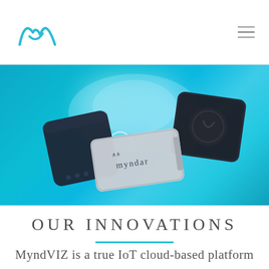Myndar logo and navigation menu
[Figure (photo): Three IoT hardware devices floating against a teal/cyan cloud background. Left: a dark navy rectangular box device. Center: a light grey flat card device labeled 'myndar' with the Myndar mountain logo. Right: a dark square flat device. Glowing circular ring elements in background.]
OUR INNOVATIONS
MyndVIZ is a true IoT cloud-based platform